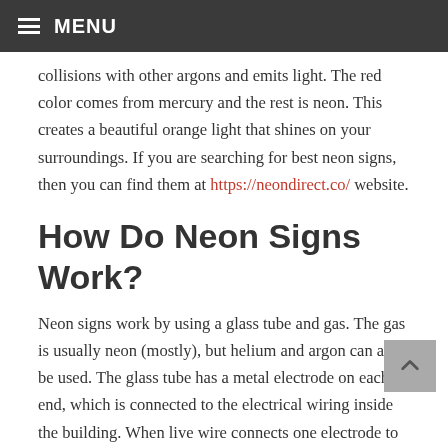MENU
collisions with other argons and emits light. The red color comes from mercury and the rest is neon. This creates a beautiful orange light that shines on your surroundings. If you are searching for best neon signs, then you can find them at https://neondirect.co/ website.
How Do Neon Signs Work?
Neon signs work by using a glass tube and gas. The gas is usually neon (mostly), but helium and argon can also be used. The glass tube has a metal electrode on each end, which is connected to the electrical wiring inside the building. When live wire connects one electrode to the other, it triggers an electric current. With enough voltage, some of the electrons will become excited and jump from the negative (or ground) terminal to the positive terminal